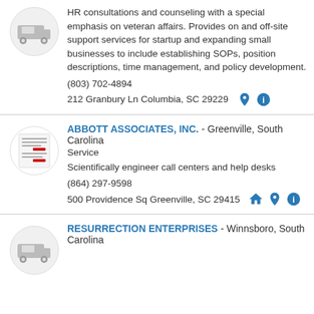HR consultations and counseling with a special emphasis on veteran affairs. Provides on and off-site support services for startup and expanding small businesses to include establishing SOPs, position descriptions, time management, and policy development.
(803) 702-4894
212 Granbury Ln Columbia, SC 29229
ABBOTT ASSOCIATES, INC. - Greenville, South Carolina
Service
Scientifically engineer call centers and help desks
(864) 297-9598
500 Providence Sq Greenville, SC 29415
RESURRECTION ENTERPRISES - Winnsboro, South Carolina